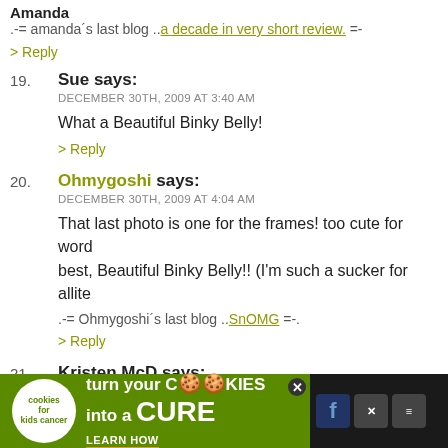Amanda
.-= amanda´s last blog ..a decade in very short review. =-
> Reply
19. Sue says: DECEMBER 30TH, 2009 AT 3:40 AM — What a Beautiful Binky Belly! > Reply
20. Ohmygoshi says: DECEMBER 30TH, 2009 AT 4:04 AM — That last photo is one for the frames! too cute for word best, Beautiful Binky Belly!! (I'm such a sucker for allite .-= Ohmygoshi´s last blog ..SnOMG =-. > Reply
21. Kristen McD says: DECEMBER 30TH, 2009 AT 4:09 AM
[Figure (screenshot): Advertisement banner: cookies for kids cancer — turn your cookies into a CURE LEARN HOW]